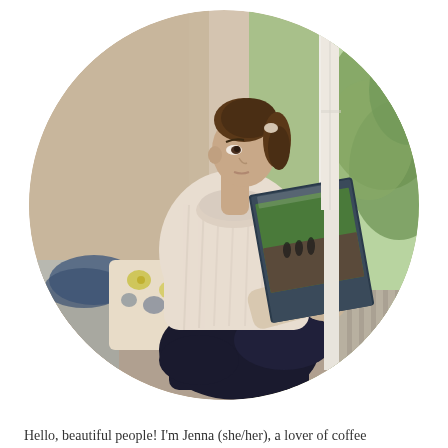[Figure (photo): A circular cropped photograph of a young woman with brown hair in a ponytail, wearing a cream cable-knit sweater and dark jeans, sitting on a window seat reading a magazine. She is surrounded by floral and striped cushions, with a denim jacket draped nearby, and green trees visible through a white-framed window behind her.]
Hello, beautiful people! I'm Jenna (she/her), a lover of coffee